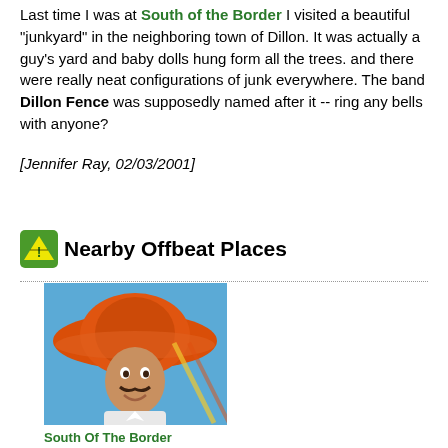Last time I was at South of the Border I visited a beautiful "junkyard" in the neighboring town of Dillon. It was actually a guy's yard and baby dolls hung form all the trees. and there were really neat configurations of junk everywhere. The band Dillon Fence was supposedly named after it -- ring any bells with anyone?
[Jennifer Ray, 02/03/2001]
Nearby Offbeat Places
[Figure (photo): Photo of a large cartoon mascot statue of a man wearing a big orange sombrero, with a mustache, against a blue sky background.]
South Of The Border